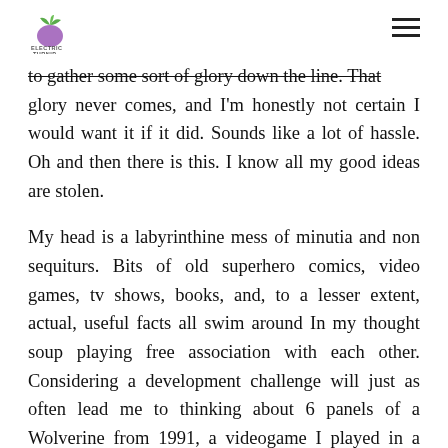Electric Turnip (logo) [hamburger menu]
to gather some sort of glory down the line. That glory never comes, and I'm honestly not certain I would want it if it did. Sounds like a lot of hassle. Oh and then there is this. I know all my good ideas are stolen.
My head is a labyrinthine mess of minutia and non sequiturs. Bits of old superhero comics, video games, tv shows, books, and, to a lesser extent, actual, useful facts all swim around In my thought soup playing free association with each other. Considering a development challenge will just as often lead me to thinking about 6 panels of a Wolverine from 1991, a videogame I played in a rink in Sylvan Lake, or some quick fix I had to pull on a car 15 years ago. All